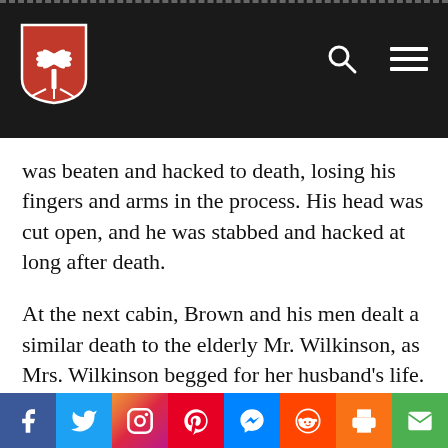[Figure (logo): Website header with dark background, red shield logo with white palmetto tree, search icon and hamburger menu icon on the right]
was beaten and hacked to death, losing his fingers and arms in the process. His head was cut open, and he was stabbed and hacked at long after death.
At the next cabin, Brown and his men dealt a similar death to the elderly Mr. Wilkinson, as Mrs. Wilkinson begged for her husband's life. At the James Harris cabin, which its occupants had left unlocked, this being a safe community,
[Figure (infographic): Social media share bar with icons for Facebook, Twitter, Instagram, Pinterest, Messenger, Reddit, Print, and Email]